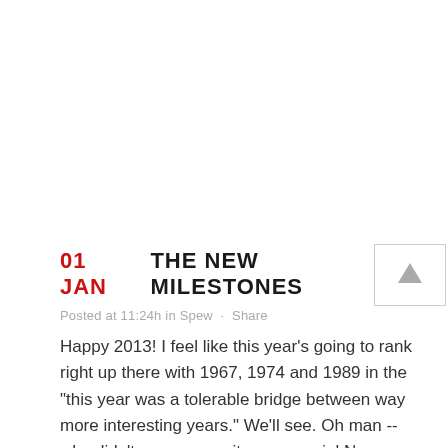01 JAN THE NEW MILESTONES
Posted at 11:24h in Spew · Share
Happy 2013! I feel like this year's going to rank right up there with 1967, 1974 and 1989 in the "this year was a tolerable bridge between way more interesting years." We'll see. Oh man -- why didn't someone write a perennial New Year's Eve song...